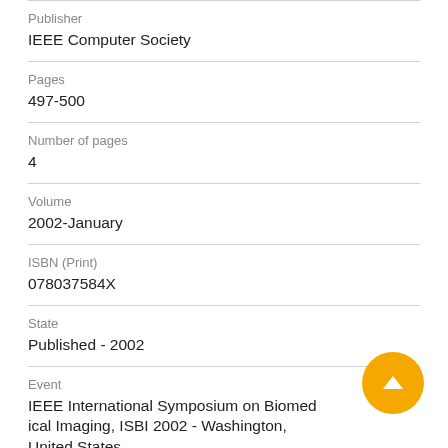Publisher
IEEE Computer Society
Pages
497-500
Number of pages
4
Volume
2002-January
ISBN (Print)
078037584X
State
Published - 2002
Event
IEEE International Symposium on Biomedical Imaging, ISBI 2002 - Washington, United States
Duration: Jul 7 2002 → Jul 10 2002